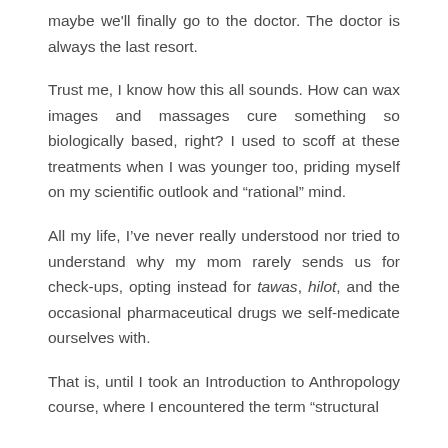maybe we'll finally go to the doctor. The doctor is always the last resort.
Trust me, I know how this all sounds. How can wax images and massages cure something so biologically based, right? I used to scoff at these treatments when I was younger too, priding myself on my scientific outlook and “rational” mind.
All my life, I’ve never really understood nor tried to understand why my mom rarely sends us for check-ups, opting instead for tawas, hilot, and the occasional pharmaceutical drugs we self-medicate ourselves with.
That is, until I took an Introduction to Anthropology course, where I encountered the term “structural